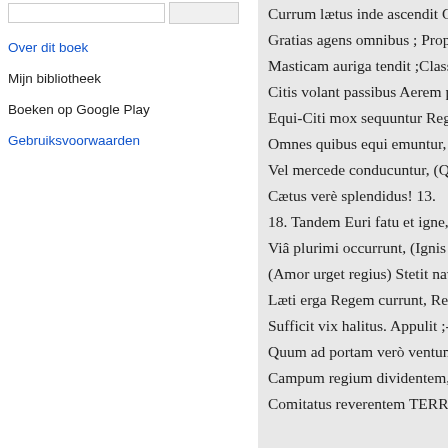Over dit boek
Mijn bibliotheek
Boeken op Google Play
Gebruiksvoorwaarden
Currum lætus inde ascendit Qu
Gratias agens omnibus ; Propi
Masticam auriga tendit ;Classe
Citis volant passibus Aerem pl
Equi-Citi mox sequuntur Rege
Omnes quibus equi emuntur, P
Vel mercede conducuntur, (Qu
Cætus verè splendidus! 13.
18. Tandem Euri fatu et igne,
Viâ plurimi occurrunt, (Ignis e
(Amor urget regius) Stetit nav
Læti erga Regem currunt, Reg
Sufficit vix halitus. Appulit ;-
Quum ad portam verò ventum
Campum regium dividentem,
Comitatus reverentem TERRA